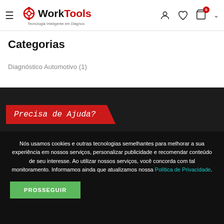WorkTools — Tecnologia Inteligente em Diagnos
Categorias
Diagnóstico Automotivo (1)
[Figure (illustration): Red banner with italic white handwritten text 'Precisa de Ajuda?' on dark background]
Nós usamos cookies e outras tecnologias semelhantes para melhorar a sua experiência em nossos serviços, personalizar publicidade e recomendar conteúdo de seu interesse. Ao utilizar nossos serviços, você concorda com tal monitoramento. Informamos ainda que atualizamos nossa Política de Privacidade.
PROSSEGUIR